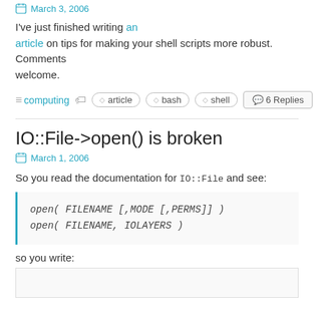March 3, 2006
I've just finished writing an article on tips for making your shell scripts more robust. Comments welcome.
≡ computing  ◇ article  ◇ bash  ◇ shell   💬 6 Replies
IO::File->open() is broken
March 1, 2006
So you read the documentation for IO::File and see:
open( FILENAME [,MODE [,PERMS]] )
open( FILENAME, IOLAYERS )
so you write: